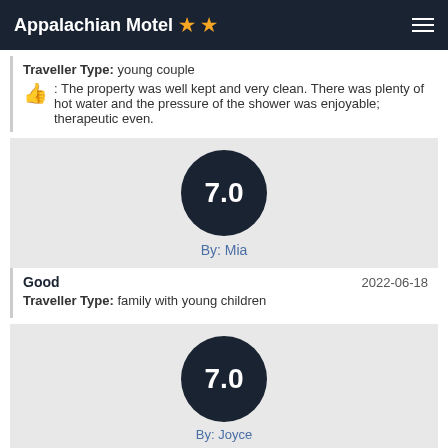Appalachian Motel ★★
Traveller Type: young couple
: The property was well kept and very clean. There was plenty of hot water and the pressure of the shower was enjoyable; therapeutic even.
[Figure (other): Score circle showing 7.0 rating by Mia]
By: Mia
Good  2022-06-18
Traveller Type: family with young children
[Figure (other): Score circle showing 7.0 rating by Joyce]
By: Joyce